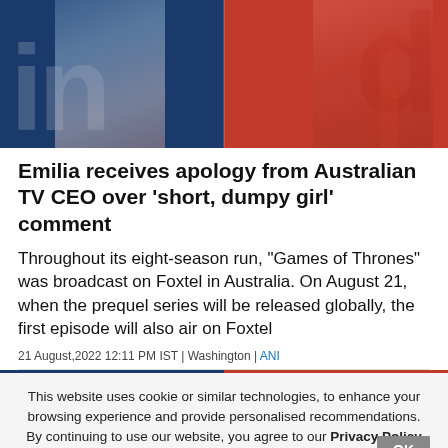[Figure (photo): Hero image split into two halves: left side dark blue background with partial face silhouette and large white letters, right side red background with woman in red outfit and large dark red letter]
Emilia receives apology from Australian TV CEO over 'short, dumpy girl' comment
Throughout its eight-season run, "Games of Thrones" was broadcast on Foxtel in Australia. On August 21, when the prequel series will be released globally, the first episode will also air on Foxtel
21 August,2022 12:11 PM IST | Washington | ANI
This website uses cookie or similar technologies, to enhance your browsing experience and provide personalised recommendations. By continuing to use our website, you agree to our Privacy Policy and Cookie Policy.